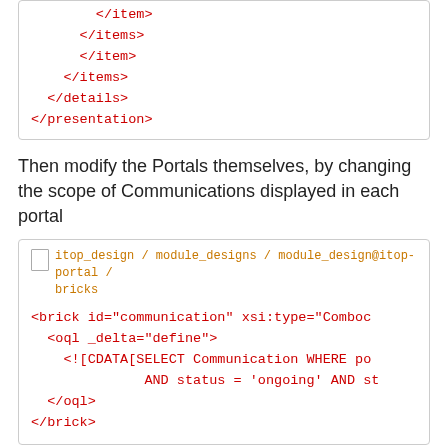[Figure (screenshot): Code box showing closing XML tags: </items>, </item>, </items>, </details>, </presentation>]
Then modify the Portals themselves, by changing the scope of Communications displayed in each portal
[Figure (screenshot): Code box with file path itop_design / module_designs / module_design@itop-portal / bricks and XML code: <brick id="communication" xsi:type="Comboc ... <oql _delta="define"> <![CDATA[SELECT Communication WHERE po ... AND status = 'ongoing' AND st ... </oql> </brick>]